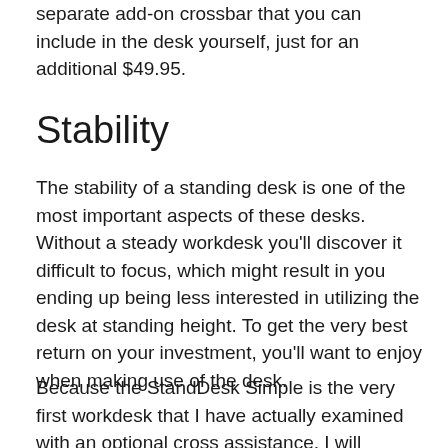separate add-on crossbar that you can include in the desk yourself, just for an additional $49.95.
Stability
The stability of a standing desk is one of the most important aspects of these desks. Without a steady workdesk you’ll discover it difficult to focus, which might result in you ending up being less interested in utilizing the desk at standing height. To get the very best return on your investment, you’ll want to enjoy when making use of the desk.
Because the StandDesk Simple is the very first workdesk that I have actually examined with an optional cross assistance, I will